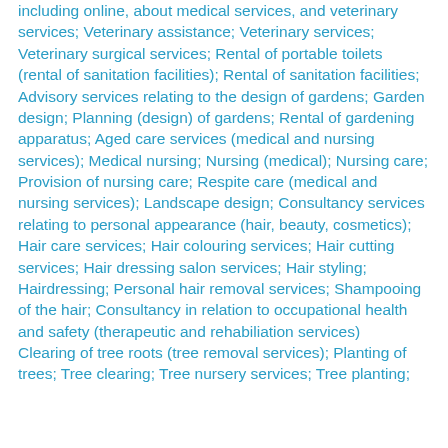including online, about medical services, and veterinary services; Veterinary assistance; Veterinary services; Veterinary surgical services; Rental of portable toilets (rental of sanitation facilities); Rental of sanitation facilities; Advisory services relating to the design of gardens; Garden design; Planning (design) of gardens; Rental of gardening apparatus; Aged care services (medical and nursing services); Medical nursing; Nursing (medical); Nursing care; Provision of nursing care; Respite care (medical and nursing services); Landscape design; Consultancy services relating to personal appearance (hair, beauty, cosmetics); Hair care services; Hair colouring services; Hair cutting services; Hair dressing salon services; Hair styling; Hairdressing; Personal hair removal services; Shampooing of the hair; Consultancy in relation to occupational health and safety (therapeutic and rehabiliation services)
Clearing of tree roots (tree removal services); Planting of trees; Tree clearing; Tree nursery services; Tree planting;